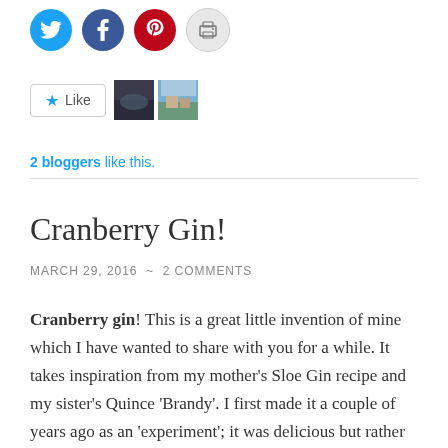[Figure (other): Social sharing icons row: Twitter (blue circle), Facebook (dark blue circle), Pinterest (red circle), Print (grey circle)]
[Figure (other): WordPress Like button with star icon and two blogger avatar thumbnails]
2 bloggers like this.
Cranberry Gin!
MARCH 29, 2016 ~ 2 COMMENTS
Cranberry gin! This is a great little invention of mine which I have wanted to share with you for a while. It takes inspiration from my mother's Sloe Gin recipe and my sister's Quince 'Brandy'. I first made it a couple of years ago as an 'experiment'; it was delicious but rather too sweet for me because I used